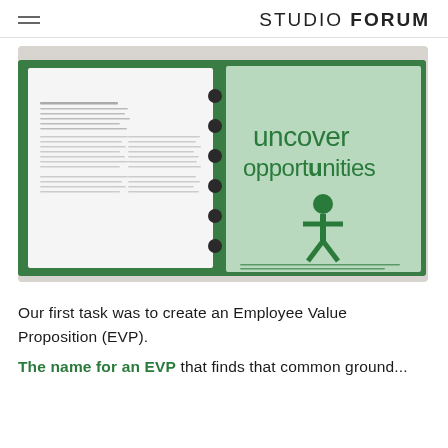STUDIO FORUM
[Figure (photo): Open spiral-bound book/planner showing a green page with the words 'uncover opportunities' in large green text and a small green human figure icon, next to a white page with columns of text. The book rests on a marble surface with green binding.]
Our first task was to create an Employee Value Proposition (EVP).
The name for an EVP that finds that common ground...